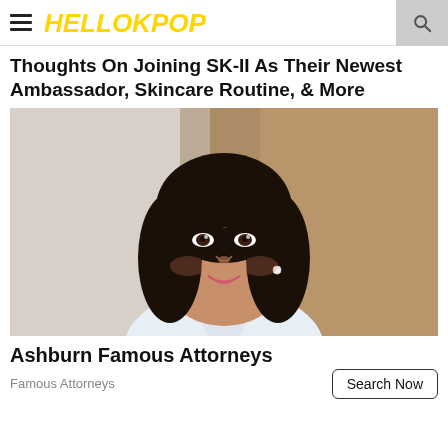HELLOKPOP
Thoughts On Joining SK-II As Their Newest Ambassador, Skincare Routine, & More
[Figure (photo): Portrait photo of a young Asian woman with shoulder-length dark hair, wearing a white collared shirt, smiling, photographed against a blurred indoor background.]
Ashburn Famous Attorneys
Famous Attorneys